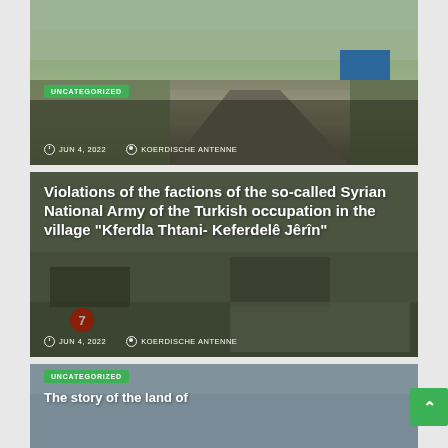[Figure (photo): Aerial/street view photo of a Syrian town with road and buildings on hillside, with UNCATEGORIZED badge, date and author metadata overlaid]
UNCATEGORIZED
JUN 4, 2022   KOERDISCHE ANTENNE
Violations of the factions of the so-called Syrian National Army of the Turkish occupation in the village "Kferdla Thtani- Keferdelê Jêrîn"
JUN 4, 2022   KOERDISCHE ANTENNE
[Figure (photo): Photo of what appears to be military or outdoor scene with Arabic text visible, overlaid with article title text]
UNCATEGORIZED
The story of the land of